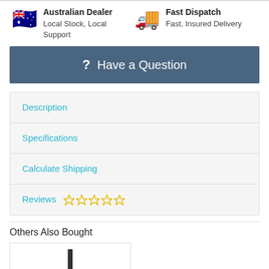Australian Dealer — Local Stock, Local Support
Fast Dispatch — Fast, Insured Delivery
? Have a Question
Description
Specifications
Calculate Shipping
Reviews ☆ ☆ ☆ ☆ ☆
Others Also Bought
[Figure (photo): Product image thumbnail — a dark vertical bar/rod product on white background]